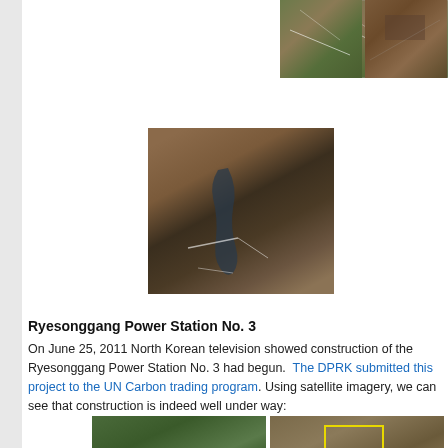[Figure (photo): Satellite image top left - aerial view of terrain]
[Figure (photo): Satellite image top right - aerial view of terrain with orange/brown tones]
[Figure (photo): Large central satellite image showing reservoir or water body in brown terrain]
Ryesonggang Power Station No. 3
On June 25, 2011 North Korean television showed construction of the Ryesonggang Power Station No. 3 had begun. The DPRK submitted this project to the UN Carbon trading program. Using satellite imagery, we can see that construction is indeed well under way:
[Figure (photo): Satellite image bottom left - green/brown terrain with river]
[Figure (photo): Satellite image bottom right - brown terrain with yellow rectangle marking area of interest]